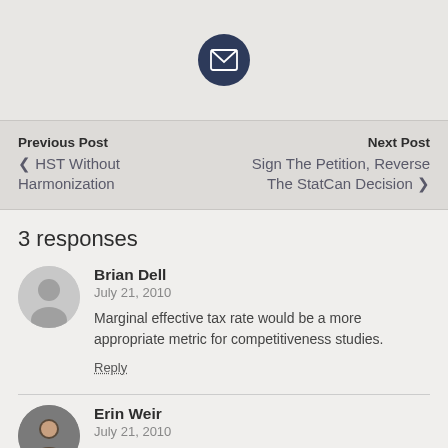[Figure (illustration): Dark navy circle with white envelope/mail icon in the center]
Previous Post
‹ HST Without Harmonization
Next Post
Sign The Petition, Reverse The StatCan Decision ›
3 responses
Brian Dell
July 21, 2010
Marginal effective tax rate would be a more appropriate metric for competitiveness studies.
Reply
Erin Weir
July 21, 2010